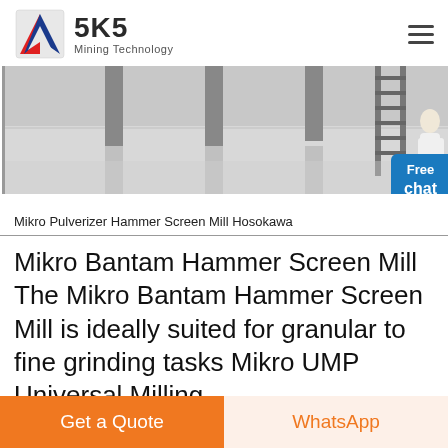SKS Mining Technology
[Figure (photo): Interior of an industrial facility with polished floor, metal support columns, and a staircase ladder. A person in a white coat stands to the right.]
Mikro Pulverizer Hammer Screen Mill Hosokawa
Mikro Bantam Hammer Screen Mill The Mikro Bantam Hammer Screen Mill is ideally suited for granular to fine grinding tasks Mikro UMP Universal Milling
Get Price
Get a Quote
WhatsApp